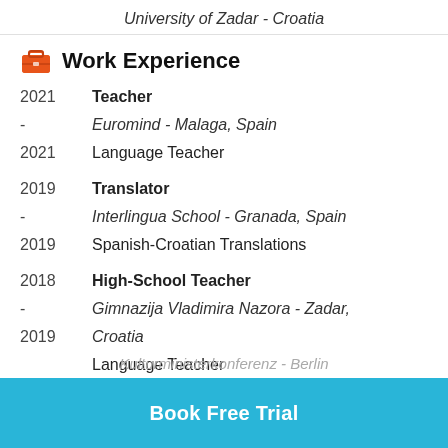University of Zadar - Croatia
Work Experience
2021 | Teacher
- | Euromind - Malaga, Spain
2021 | Language Teacher
2019 | Translator
- | Interlingua School - Granada, Spain
2019 | Spanish-Croatian Translations
2018 | High-School Teacher
- | Gimnazija Vladimira Nazora - Zadar,
2019 | Croatia
Language Teacher
Certifications
2014 ...
Kulturministerkonferenz - Berlin
Book Free Trial